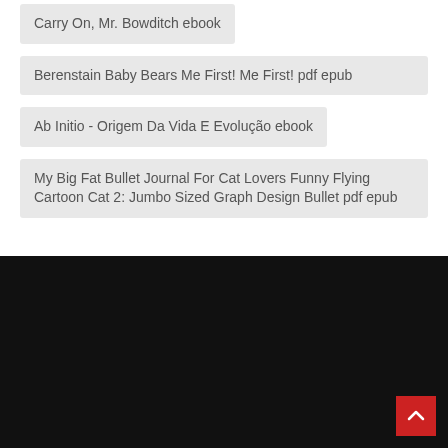Carry On, Mr. Bowditch ebook
Berenstain Baby Bears Me First! Me First! pdf epub
Ab Initio - Origem Da Vida E Evolução ebook
My Big Fat Bullet Journal For Cat Lovers Funny Flying Cartoon Cat 2: Jumbo Sized Graph Design Bullet pdf epub